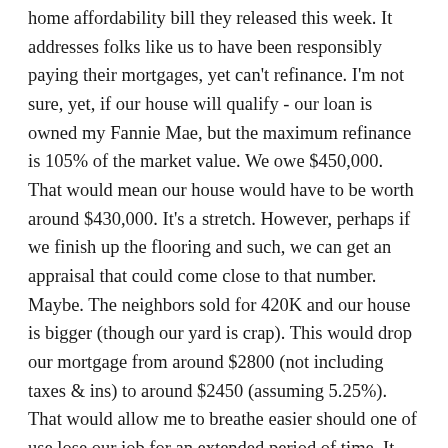home affordability bill they released this week. It addresses folks like us to have been responsibly paying their mortgages, yet can't refinance. I'm not sure, yet, if our house will qualify - our loan is owned my Fannie Mae, but the maximum refinance is 105% of the market value. We owe $450,000. That would mean our house would have to be worth around $430,000. It's a stretch. However, perhaps if we finish up the flooring and such, we can get an appraisal that could come close to that number. Maybe. The neighbors sold for 420K and our house is bigger (though our yard is crap). This would drop our mortgage from around $2800 (not including taxes & ins) to around $2450 (assuming 5.25%). That would allow me to breathe easier should one of use lose our job for an extended period of time. It also would mean should we ever need to move we could rent it out for a only a small loss (rather than an enormous one). This is really a great idea on their part - if people can refinance into more affordable loans it will decrease the